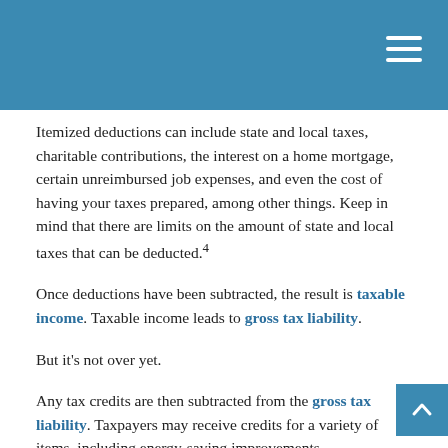Itemized deductions can include state and local taxes, charitable contributions, the interest on a home mortgage, certain unreimbursed job expenses, and even the cost of having your taxes prepared, among other things. Keep in mind that there are limits on the amount of state and local taxes that can be deducted.⁴
Once deductions have been subtracted, the result is taxable income. Taxable income leads to gross tax liability.
But it's not over yet.
Any tax credits are then subtracted from the gross tax liability. Taxpayers may receive credits for a variety of items, including energy-saving improvements.
The result is the taxpayer's net tax.